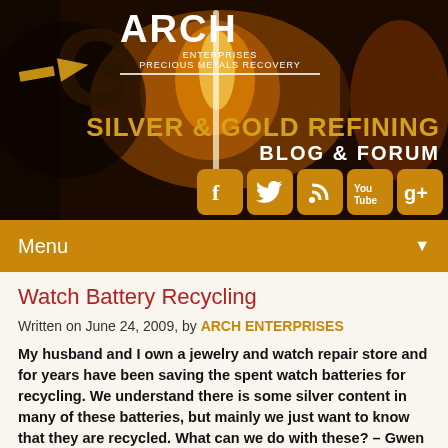[Figure (screenshot): Arch Enterprises Precious Metals Recovery website header banner with gold/dark background, large G logo, SILVER & GOLD REFINING BLOG & FORUM title, and social media icons (Facebook, Twitter, RSS, YouTube, Google+)]
Menu
Watch Battery Recycling
Written on June 24, 2009, by ARCH ENTERPRISES
My husband and I own a jewelry and watch repair store and for years have been saving the spent watch batteries for recycling. We understand there is some silver content in many of these batteries, but mainly we just want to know that they are recycled. What can we do with these? – Gwen in Memphis, TN